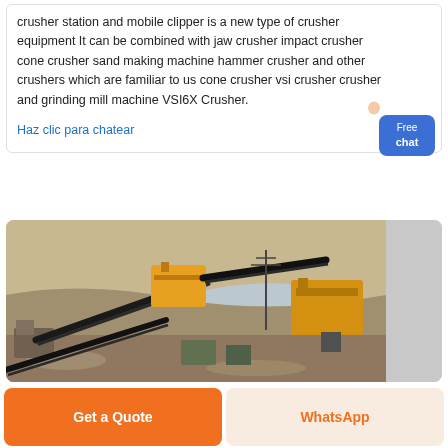crusher station and mobile clipper is a new type of crusher equipment It can be combined with jaw crusher impact crusher cone crusher sand making machine hammer crusher and other crushers which are familiar to us cone crusher vsi crusher crusher and grinding mill machine VSI6X Crusher.
Haz clic para chatear
[Figure (photo): Outdoor quarry or mining site showing multiple conveyor belts, yellow heavy machinery (crushers), and earthen hills in the background. Industrial crushing station setup.]
Get a Quote
WhatsApp